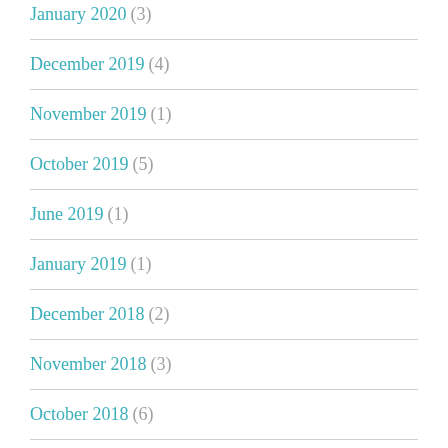January 2020 (3)
December 2019 (4)
November 2019 (1)
October 2019 (5)
June 2019 (1)
January 2019 (1)
December 2018 (2)
November 2018 (3)
October 2018 (6)
September 2018 (6)
August 2018 (4)